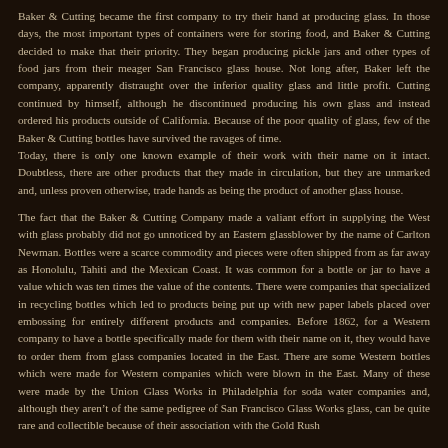Baker & Cutting became the first company to try their hand at producing glass. In those days, the most important types of containers were for storing food, and Baker & Cutting decided to make that their priority. They began producing pickle jars and other types of food jars from their meager San Francisco glass house. Not long after, Baker left the company, apparently distraught over the inferior quality glass and little profit. Cutting continued by himself, although he discontinued producing his own glass and instead ordered his products outside of California. Because of the poor quality of glass, few of the Baker & Cutting bottles have survived the ravages of time.
Today, there is only one known example of their work with their name on it intact. Doubtless, there are other products that they made in circulation, but they are unmarked and, unless proven otherwise, trade hands as being the product of another glass house.
The fact that the Baker & Cutting Company made a valiant effort in supplying the West with glass probably did not go unnoticed by an Eastern glassblower by the name of Carlton Newman. Bottles were a scarce commodity and pieces were often shipped from as far away as Honolulu, Tahiti and the Mexican Coast. It was common for a bottle or jar to have a value which was ten times the value of the contents. There were companies that specialized in recycling bottles which led to products being put up with new paper labels placed over embossing for entirely different products and companies. Before 1862, for a Western company to have a bottle specifically made for them with their name on it, they would have to order them from glass companies located in the East. There are some Western bottles which were made for Western companies which were blown in the East. Many of these were made by the Union Glass Works in Philadelphia for soda water companies and, although they aren't of the same pedigree of San Francisco Glass Works glass, can be quite rare and collectible because of their association with the Gold Rush and the early development of California. Of course, you can dig into today's bottle...